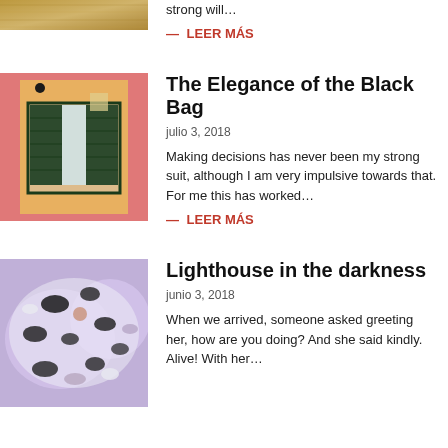strong will…
— LEER MÁS
[Figure (photo): Photo of a colorful building facade with pink trim and dark green shuttered windows]
The Elegance of the Black Bag
julio 3, 2018
Making decisions has never been my strong suit, although I am very impulsive towards that. For me this has worked…
— LEER MÁS
[Figure (photo): Close-up photo of colorful stones or shells with purple and white tones]
Lighthouse in the darkness
junio 3, 2018
When we arrived, someone asked greeting her, how are you doing? And she said kindly. Alive! With her…